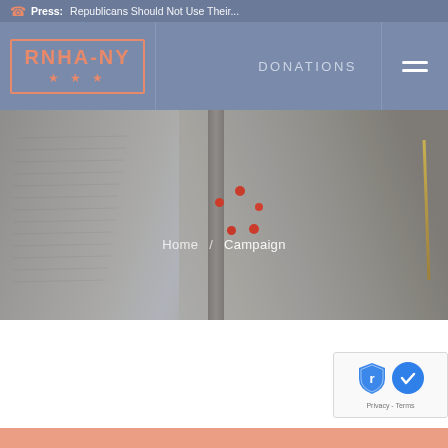RSS Press: Republicans Should Not Use Their...
[Figure (logo): RNHA-NY logo in salmon/coral color with three stars, inside a rectangular border]
DONATIONS
[Figure (photo): Hero image of an open book with pages fanned out, overlaid with semi-transparent blue-grey tint. Decorative red/coral dots scattered in center. Breadcrumb navigation shows Home / Campaign.]
Home / Campaign
[Figure (other): reCAPTCHA widget showing shield icon and circular checkmark with Privacy - Terms text]